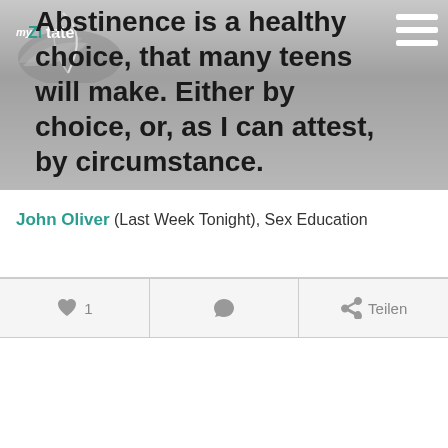[Figure (logo): myZitate logo — stylized feather/bird with 'myZitate' text in white on dark background]
Abstinence is a healthy choice, that many teens will make. Either by choice, or, as I can attest, by circumstance.
John Oliver (Last Week Tonight), Sex Education
Sex
1
Teilen